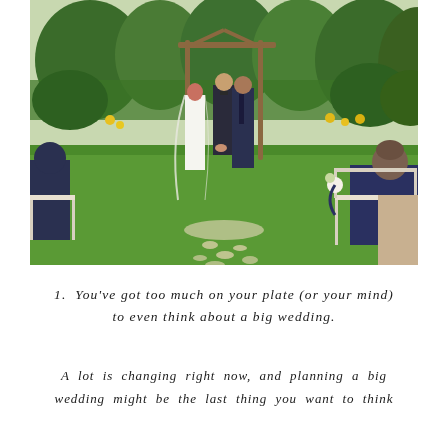[Figure (photo): Outdoor garden wedding ceremony. A bride in a white lace gown with a long veil and a groom in a dark navy suit exchange rings at an altar. An officiant in a dark suit stands behind them. Guests are seated on white chairs along a petal-strewn aisle. Lush green garden background with yellow flowers.]
1. You've got too much on your plate (or your mind) to even think about a big wedding.
A lot is changing right now, and planning a big wedding might be the last thing you want to think